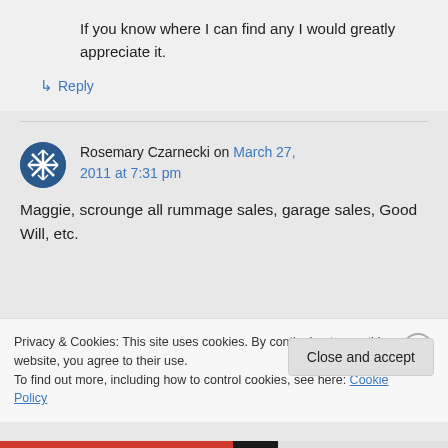If you know where I can find any I would greatly appreciate it.
↳ Reply
Rosemary Czarnecki on March 27, 2011 at 7:31 pm
Maggie, scrounge all rummage sales, garage sales, Good Will, etc.
Privacy & Cookies: This site uses cookies. By continuing to use this website, you agree to their use.
To find out more, including how to control cookies, see here: Cookie Policy
Close and accept